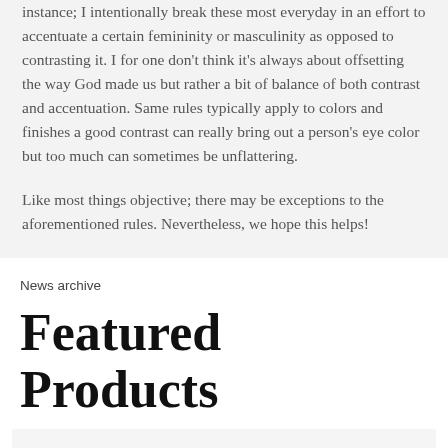instance; I intentionally break these most everyday in an effort to accentuate a certain femininity or masculinity as opposed to contrasting it. I for one don't think it's always about offsetting the way God made us but rather a bit of balance of both contrast and accentuation. Same rules typically apply to colors and finishes a good contrast can really bring out a person's eye color but too much can sometimes be unflattering.
Like most things objective; there may be exceptions to the aforementioned rules. Nevertheless, we hope this helps!
News archive
Featured Products
[Figure (photo): Partial image of a pair of rimless/semi-rimless eyeglasses with dark metal frames, shown from the front on a light grey background.]